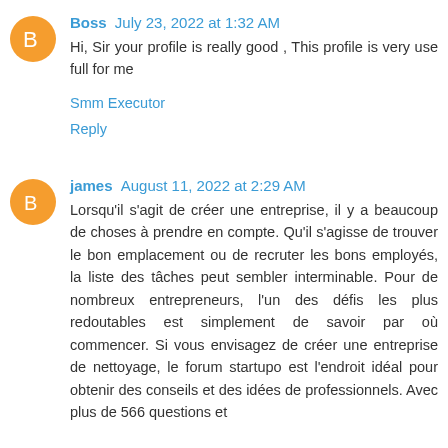Boss  July 23, 2022 at 1:32 AM
Hi, Sir your profile is really good , This profile is very use full for me
Smm Executor
Reply
james  August 11, 2022 at 2:29 AM
Lorsqu'il s'agit de créer une entreprise, il y a beaucoup de choses à prendre en compte. Qu'il s'agisse de trouver le bon emplacement ou de recruter les bons employés, la liste des tâches peut sembler interminable. Pour de nombreux entrepreneurs, l'un des défis les plus redoutables est simplement de savoir par où commencer. Si vous envisagez de créer une entreprise de nettoyage, le forum startupo est l'endroit idéal pour obtenir des conseils et des idées de professionnels. Avec plus de 566 questions et